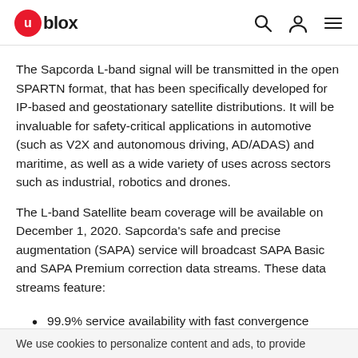u-blox
The Sapcorda L-band signal will be transmitted in the open SPARTN format, that has been specifically developed for IP-based and geostationary satellite distributions. It will be invaluable for safety-critical applications in automotive (such as V2X and autonomous driving, AD/ADAS) and maritime, as well as a wide variety of uses across sectors such as industrial, robotics and drones.
The L-band Satellite beam coverage will be available on December 1, 2020. Sapcorda’s safe and precise augmentation (SAPA) service will broadcast SAPA Basic and SAPA Premium correction data streams. These data streams feature:
99.9% service availability with fast convergence
We use cookies to personalize content and ads, to provide